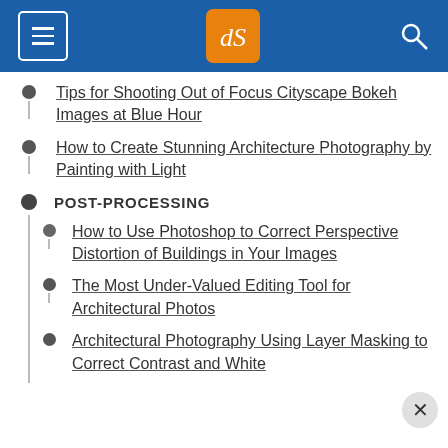dPS navigation menu header
Tips for Shooting Out of Focus Cityscape Bokeh Images at Blue Hour
How to Create Stunning Architecture Photography by Painting with Light
POST-PROCESSING
How to Use Photoshop to Correct Perspective Distortion of Buildings in Your Images
The Most Under-Valued Editing Tool for Architectural Photos
Architectural Photography Using Layer Masking to Correct Contrast and White